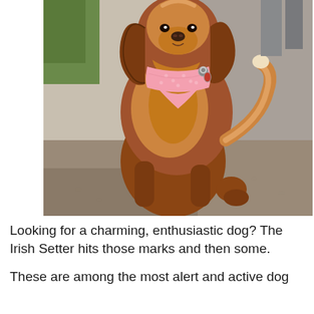[Figure (photo): A golden/reddish-brown Irish Setter dog standing on its hind legs outdoors, wearing a pink bandana around its neck with a tag/collar visible. The dog has long, flowing auburn fur. The background shows a paved path and some greenery.]
Looking for a charming, enthusiastic dog? The Irish Setter hits those marks and then some.
These are among the most alert and active dog